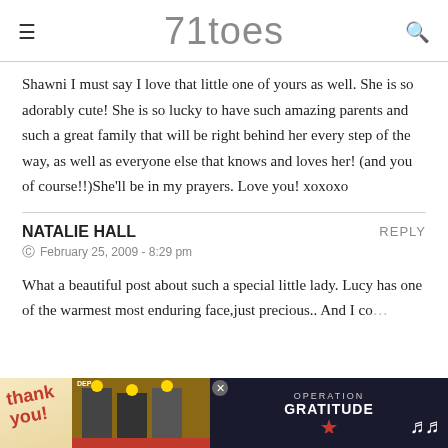71toes
Shawni I must say I love that little one of yours as well. She is so adorably cute! She is so lucky to have such amazing parents and such a great family that will be right behind her every step of the way, as well as everyone else that knows and loves her! (and you of course!!)She'll be in my prayers. Love you! xoxoxo
NATALIE HALL
February 25, 2009 - 8:29 pm
What a beautiful post about such a special little lady. Lucy has one of the warmest most enduring face,just precious.. And I co…this is why
[Figure (screenshot): Advertisement bar at the bottom with 'Thank you' text and Operation Gratitude logo]